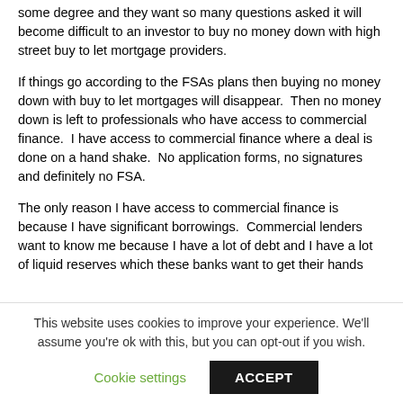some degree and they want so many questions asked it will become difficult to an investor to buy no money down with high street buy to let mortgage providers.
If things go according to the FSAs plans then buying no money down with buy to let mortgages will disappear.  Then no money down is left to professionals who have access to commercial finance.  I have access to commercial finance where a deal is done on a hand shake.  No application forms, no signatures and definitely no FSA.
The only reason I have access to commercial finance is because I have significant borrowings.  Commercial lenders want to know me because I have a lot of debt and I have a lot of liquid reserves which these banks want to get their hands
This website uses cookies to improve your experience. We'll assume you're ok with this, but you can opt-out if you wish.